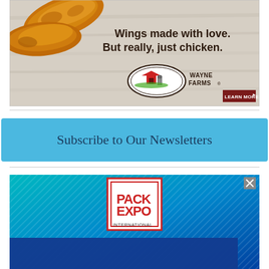[Figure (illustration): Wayne Farms advertisement showing fried chicken wings on a wooden surface with text 'Wings made with love. But really, just chicken.' and Wayne Farms logo with 'LEARN MORE' button]
[Figure (infographic): Blue banner with text 'Subscribe to Our Newsletters']
[Figure (other): Pack Expo International advertisement showing logo on teal/blue gradient background]